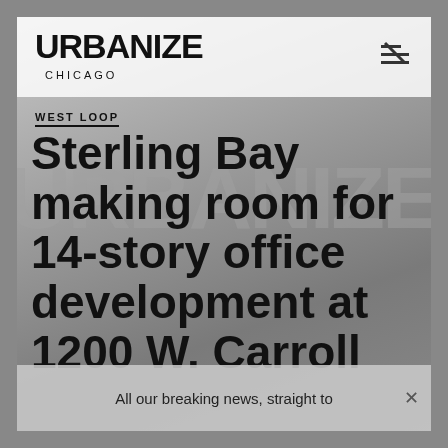[Figure (screenshot): Screenshot of Urbanize Chicago website showing article about Sterling Bay office development, with building rendering in background and overlaid modal notification bar]
URBANIZE
CHICAGO
WEST LOOP
Sterling Bay making room for 14-story office development at 1200 W. Carroll
All our breaking news, straight to